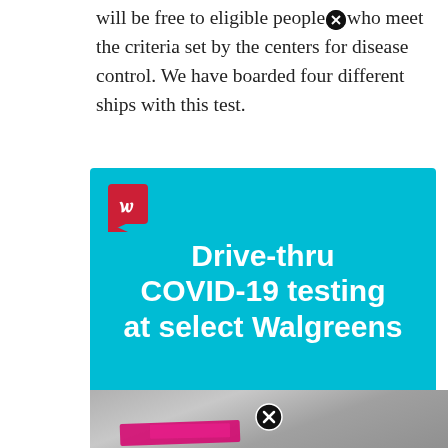will be free to eligible people who meet the criteria set by the centers for disease control. We have boarded four different ships with this test.
[Figure (infographic): Walgreens Drive-thru COVID-19 testing at select Walgreens advertisement banner on cyan/turquoise background with Walgreens logo]
Walgreens has partnered with the U.S. Department of Health and Human Services (HHS) to open drive-thru testing locations in select areas. Testing is available at no-cost for people with and without health insurance coverage.
Source: walegr.blogspot.com
Get the latest information & answers to frequently asked questions about coronavirus testing. At the testing locations, walgreens pharmacists oversee patients'
[Figure (photo): Partial photograph of Walgreens drive-thru COVID-19 testing materials with pink/magenta colored items visible]